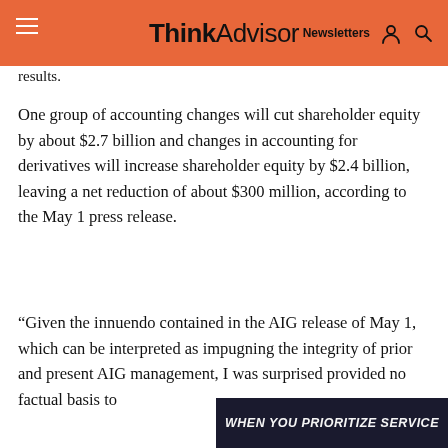ThinkAdvisor
results.
One group of accounting changes will cut shareholder equity by about $2.7 billion and changes in accounting for derivatives will increase shareholder equity by $2.4 billion, leaving a net reduction of about $300 million, according to the May 1 press release.
“Given the innuendo contained in the AIG release of May 1, which can be interpreted as impugning the integrity of prior and present AIG management, I was surprised provided no factual basis to
[Figure (other): Advertisement overlay with text WHEN YOU PRIORITIZE SERVICE on dark background]